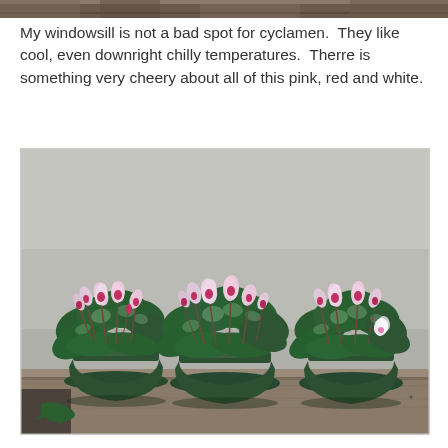[Figure (photo): Narrow horizontal strip at top of page showing a blurred or cropped image, appearing as a dark brownish-gray band.]
My windowsill is not a bad spot for cyclamen.  They like cool, even downright chilly temperatures.  Therre is something very cheery about all of this pink, red and white.
[Figure (photo): Photograph of three potted cyclamen plants in dark green pots, displayed on a wooden shelf or surface against a gray background. The plants have dark green variegated leaves and pink/white blooms with magenta centers.]